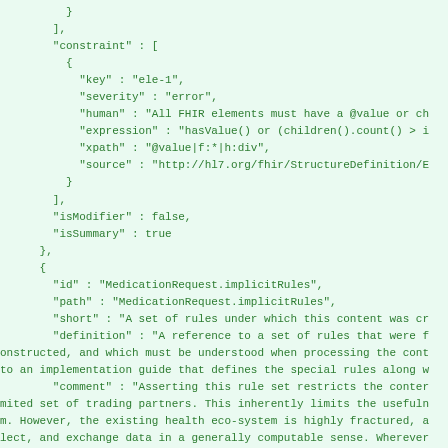JSON/FHIR code snippet showing constraint, isModifier, isSummary fields and MedicationRequest.implicitRules element definition